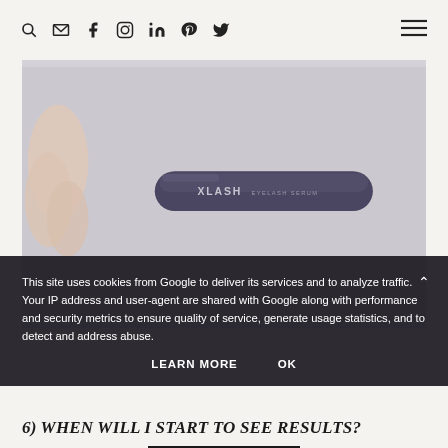Navigation bar with search, email, facebook, instagram, linkedin, pinterest, twitter icons and hamburger menu
[Figure (photo): Hand holding a dark purple/grey cylindrical XLASH Eyelash Serum tube against a light grey background]
This site uses cookies from Google to deliver its services and to analyze traffic. Your IP address and user-agent are shared with Google along with performance and security metrics to ensure quality of service, generate usage statistics, and to detect and address abuse.
LEARN MORE   OK
6) WHEN WILL I START TO SEE RESULTS?